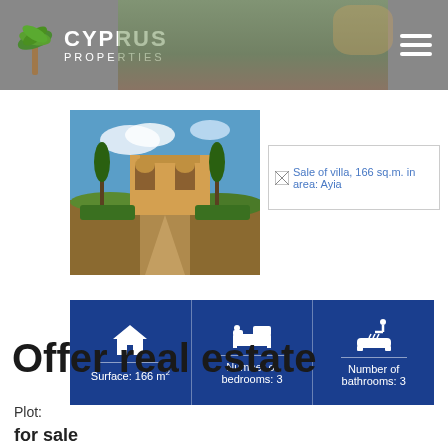Cyprus Properties
[Figure (photo): Villa property photo showing Mediterranean-style house with garden and pathway]
[Figure (photo): Sale of villa, 166 sq.m. in area: Ayia (truncated)]
| Surface: 166 m² | Number of bedrooms: 3 | Number of bathrooms: 3 |
Offer real estate
Plot:
for sale